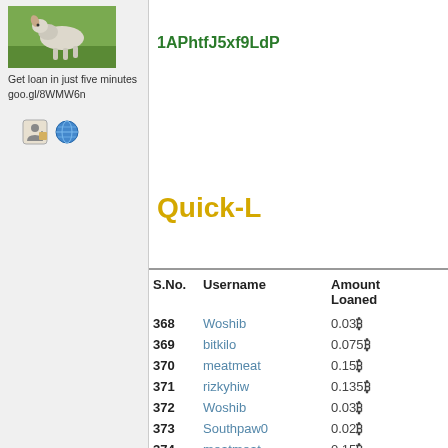[Figure (photo): Photo of a dog or cat on grass, thumbnail image in left sidebar]
Get loan in just five minutes goo.gl/8WMW6n
[Figure (illustration): User icon and globe/world icon]
1APhtfJ5xf9LdP
Quick-L
| S.No. | Username | Amount Loaned |
| --- | --- | --- |
| 368 | Woshib | 0.03₿ |
| 369 | bitkilo | 0.075₿ |
| 370 | meatmeat | 0.15₿ |
| 371 | rizkyhiw | 0.135₿ |
| 372 | Woshib | 0.03₿ |
| 373 | Southpaw0 | 0.02₿ |
| 374 | meatmeat | 0.15₿ |
| 375 | goose20 | 0.62 ₿ |
| 376 | katernikol | 0.081₿ |
| 377 | yogg | 0.06₿ |
| 378 | meatmeat | 0.15037+0.1501₿ |
| 379 | mnightwaffle | $90USD |
| 380 | Scott J | 0.5001₿ |